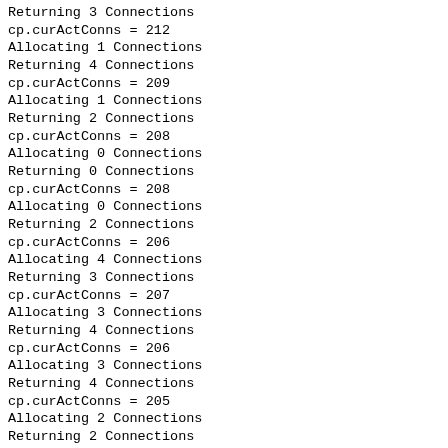Returning 3 Connections
cp.curActConns = 212
Allocating 1 Connections
Returning 4 Connections
cp.curActConns = 209
Allocating 1 Connections
Returning 2 Connections
cp.curActConns = 208
Allocating 0 Connections
Returning 0 Connections
cp.curActConns = 208
Allocating 0 Connections
Returning 2 Connections
cp.curActConns = 206
Allocating 4 Connections
Returning 3 Connections
cp.curActConns = 207
Allocating 3 Connections
Returning 4 Connections
cp.curActConns = 206
Allocating 3 Connections
Returning 4 Connections
cp.curActConns = 205
Allocating 2 Connections
Returning 2 Connections
cp.curActConns = 205
Allocating 2 Connections
Returning 1 Connections
cp.curActConns = 206
Allocating 4 Connections